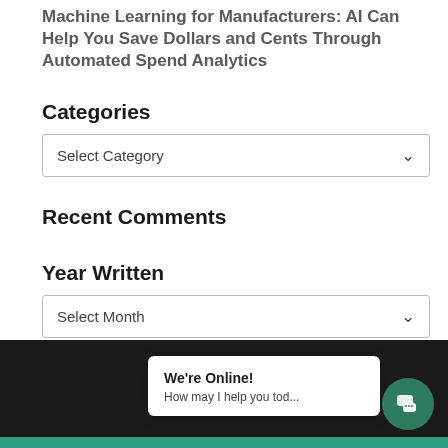Machine Learning for Manufacturers: AI Can Help You Save Dollars and Cents Through Automated Spend Analytics
Categories
Select Category
Recent Comments
Year Written
Select Month
Designed by [partially obscured]
We're Online! How may I help you tod...